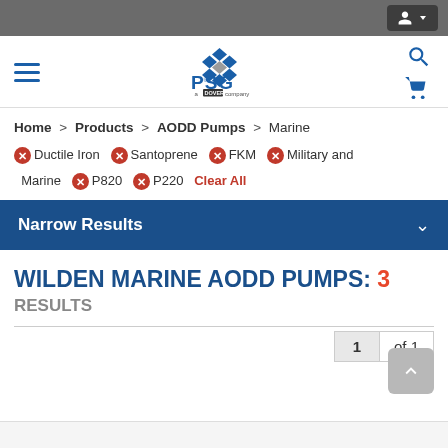[Figure (screenshot): PSG (a Dover company) website navigation bar with hamburger menu, PSG logo, search icon, and cart icon]
Home > Products > AODD Pumps > Marine
✕ Ductile Iron  ✕ Santoprene  ✕ FKM  ✕ Military and Marine  ✕ P820  ✕ P220  Clear All
Narrow Results
WILDEN MARINE AODD PUMPS: 3 RESULTS
1 of 1